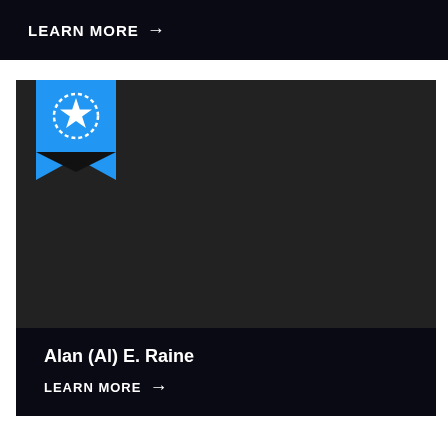LEARN MORE →
[Figure (illustration): Dark card with blue ribbon/badge icon in top-left corner showing a star with laurel wreath on a bookmark shape]
Alan (Al) E. Raine
LEARN MORE →